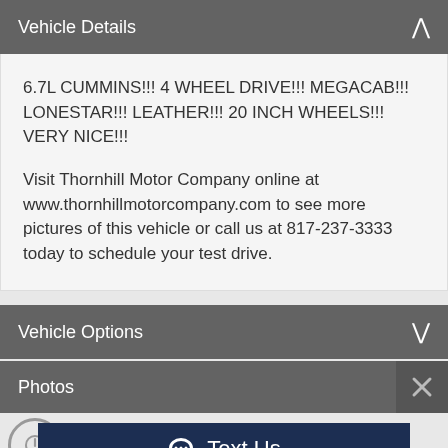Vehicle Details
6.7L CUMMINS!!! 4 WHEEL DRIVE!!! MEGACAB!!! LONESTAR!!! LEATHER!!! 20 INCH WHEELS!!! VERY NICE!!!

Visit Thornhill Motor Company online at www.thornhillmotorcompany.com to see more pictures of this vehicle or call us at 817-237-3333 today to schedule your test drive.
Vehicle Options
Photos
Text Us